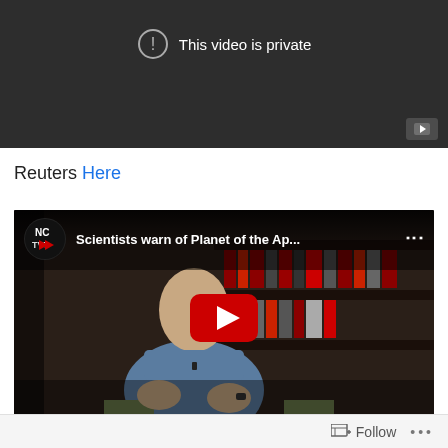[Figure (screenshot): YouTube video embed showing 'This video is private' message on dark background with exclamation mark icon and YouTube button in lower right]
Reuters Here
[Figure (screenshot): YouTube video embed with title 'Scientists warn of Planet of the Ap...' showing NC TV7 logo, a person being interviewed in front of bookshelves, and a YouTube play button overlay]
Follow ...